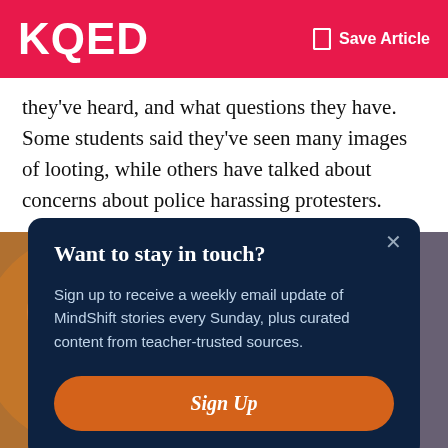KQED | Save Article
they've heard, and what questions they have. Some students said they've seen many images of looting, while others have talked about concerns about police harassing protesters.
[Figure (photo): A person viewed from behind with dark hair, in front of a colorful painted mural or decorated wall with figures in warm tones of orange, red, and blue.]
Want to stay in touch?
Sign up to receive a weekly email update of MindShift stories every Sunday, plus curated content from teacher-trusted sources.
Sign Up